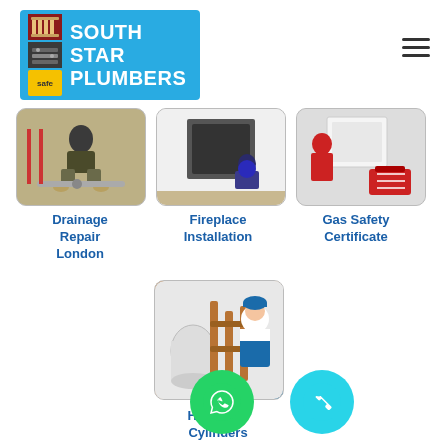[Figure (logo): South Star Plumbers logo with blue background, radiator/pipe icons on left, white bold text reading SOUTH STAR PLUMBERS, and Gas Safe/Safe registered badge at bottom left]
[Figure (photo): Hamburger menu icon (three horizontal lines) in top right]
[Figure (photo): Photo of a plumber crouching down working on drainage pipes at ground level]
[Figure (photo): Photo of a worker installing or servicing a fireplace unit on a white wall]
[Figure (photo): Photo of a person in red shirt working near a utility box or meter with a red toolbox]
Drainage Repair London
Fireplace Installation
Gas Safety Certificate
[Figure (photo): Photo of a worker in blue hard hat and overalls working on hot water cylinder and copper pipe system]
Hot Water Cylinders
[Figure (logo): Green circular WhatsApp icon button]
[Figure (logo): Cyan/turquoise circular phone call icon button]